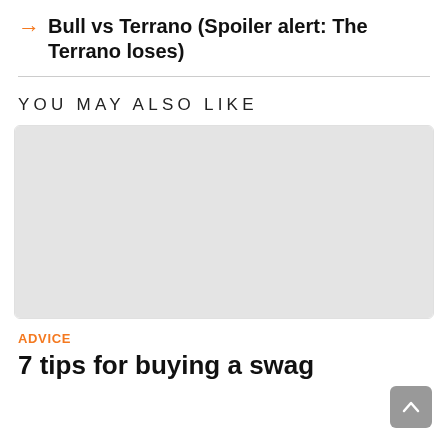→ Bull vs Terrano (Spoiler alert: The Terrano loses)
YOU MAY ALSO LIKE
[Figure (photo): Placeholder gray image block for a related article thumbnail]
ADVICE
7 tips for buying a swag